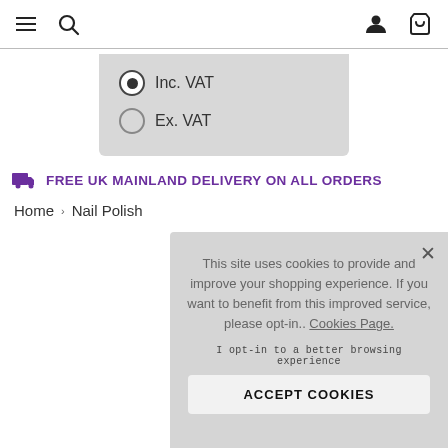Navigation bar with menu, search, account, and bag icons
Inc. VAT
Ex. VAT
FREE UK MAINLAND DELIVERY ON ALL ORDERS
Home › Nail Polish
This site uses cookies to provide and improve your shopping experience. If you want to benefit from this improved service, please opt-in.. Cookies Page.

I opt-in to a better browsing experience

ACCEPT COOKIES